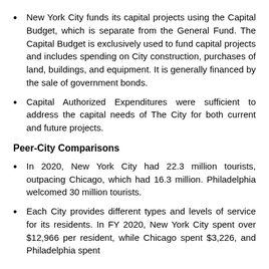New York City funds its capital projects using the Capital Budget, which is separate from the General Fund. The Capital Budget is exclusively used to fund capital projects and includes spending on City construction, purchases of land, buildings, and equipment. It is generally financed by the sale of government bonds.
Capital Authorized Expenditures were sufficient to address the capital needs of The City for both current and future projects.
Peer-City Comparisons
In 2020, New York City had 22.3 million tourists, outpacing Chicago, which had 16.3 million. Philadelphia welcomed 30 million tourists.
Each City provides different types and levels of service for its residents. In FY 2020, New York City spent over $12,966 per resident, while Chicago spent $3,226, and Philadelphia spent